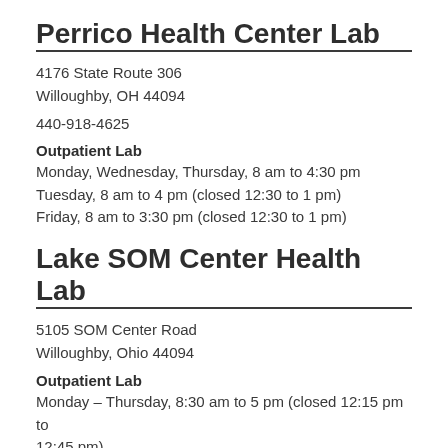Perrico Health Center Lab
4176 State Route 306
Willoughby, OH 44094
440-918-4625
Outpatient Lab
Monday, Wednesday, Thursday, 8 am to 4:30 pm
Tuesday, 8 am to 4 pm (closed 12:30 to 1 pm)
Friday, 8 am to 3:30 pm (closed 12:30 to 1 pm)
Lake SOM Center Health Lab
5105 SOM Center Road
Willoughby, Ohio 44094
Outpatient Lab
Monday – Thursday, 8:30 am to 5 pm (closed 12:15 pm to 12:45 pm)